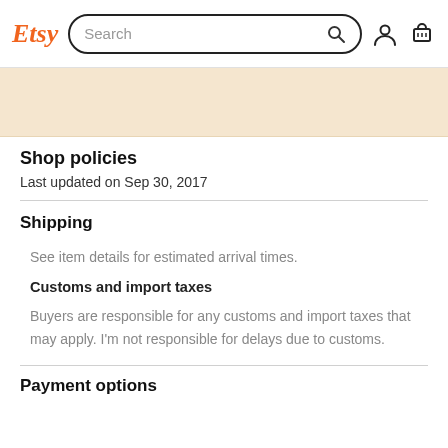Etsy | Search
[Figure (screenshot): Beige/cream colored banner area below navigation header]
Shop policies
Last updated on Sep 30, 2017
Shipping
See item details for estimated arrival times.
Customs and import taxes
Buyers are responsible for any customs and import taxes that may apply. I'm not responsible for delays due to customs.
Payment options